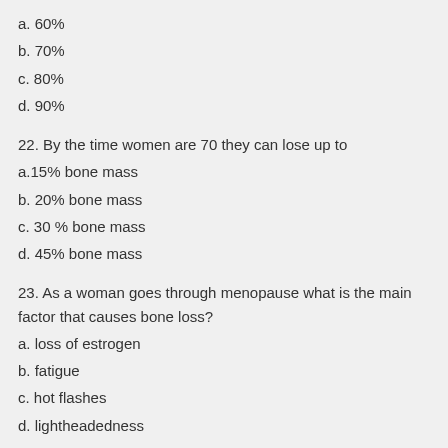a. 60%
b. 70%
c. 80%
d. 90%
22. By the time women are 70 they can lose up to
a.15% bone mass
b. 20% bone mass
c. 30 % bone mass
d. 45% bone mass
23. As a woman goes through menopause what is the main factor that causes bone loss?
a. loss of estrogen
b. fatigue
c. hot flashes
d. lightheadedness
24.What are the 3 areas at most risk for osteoporotic fracture?
a. Spine, neck, foot